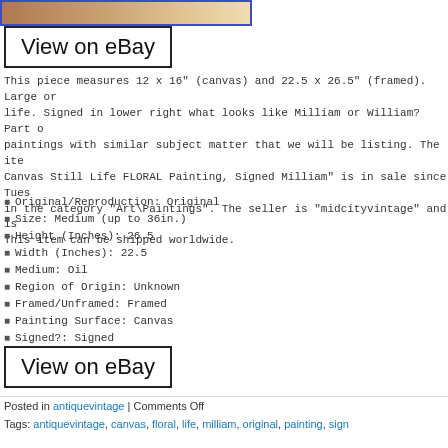[Figure (photo): Partial photo of a painting, showing warm brown and tan tones, cropped at top]
View on eBay
This piece measures 12 x 16" (canvas) and 22.5 x 26.5" (framed). Large or life. Signed in lower right what looks like Milliam or William? Part of paintings with similar subject matter that we will be listing. The item Canvas Still Life FLORAL Painting, Signed Milliam" is in sale since Tues in the category "Art\Paintings". The seller is "midcityvintage" and is This item can be shipped worldwide.
Original/Reproduction: Original
Size: Medium (up to 36in.)
Height (Inches): 26.5
Width (Inches): 22.5
Medium: Oil
Region of Origin: Unknown
Framed/Unframed: Framed
Painting Surface: Canvas
Signed?: Signed
Features: Framed
View on eBay
Posted in antiquevintage | Comments Off
Tags: antiquevintage, canvas, floral, life, milliam, original, painting, sign